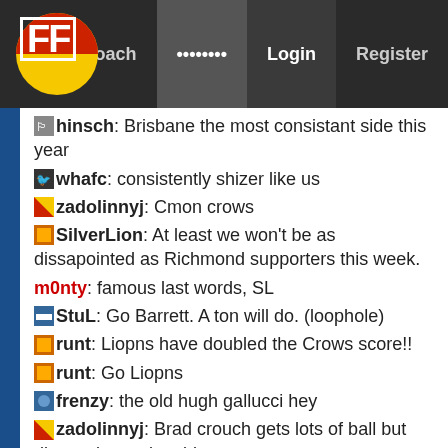FF | Coach | ........ | Login | Register
hinsch: Brisbane the most consistant side this year
whafc: consistently shizer like us
zadolinnyj: Cmon crows
SilverLion: At least we won't be as dissapointed as Richmond supporters this week.
m0nty: famous last words, SL
StuL: Go Barrett. A ton will do. (loophole)
runt: Liopns have doubled the Crows score!!
runt: Go Liopns
frenzy: the old hugh gallucci hey
zadolinnyj: Brad crouch gets lots of ball but disposal questionable
runt: The fart brothers Otten and Hampton looking non lethal at this point